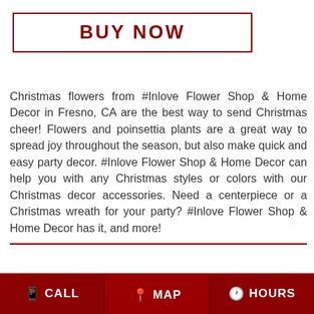BUY NOW
Christmas flowers from #Inlove Flower Shop & Home Decor in Fresno, CA are the best way to send Christmas cheer! Flowers and poinsettia plants are a great way to spread joy throughout the season, but also make quick and easy party decor. #Inlove Flower Shop & Home Decor can help you with any Christmas styles or colors with our Christmas decor accessories. Need a centerpiece or a Christmas wreath for your party? #Inlove Flower Shop & Home Decor has it, and more!
[Figure (screenshot): Search bar with magnifying glass icon on gray background]
FLOWER DELIVERY TO FRESNO, CA
CALL  MAP  HOURS